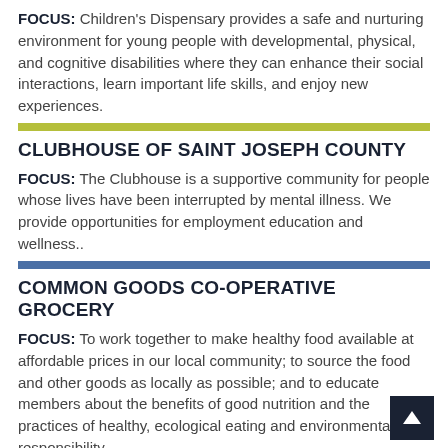FOCUS: Children's Dispensary provides a safe and nurturing environment for young people with developmental, physical, and cognitive disabilities where they can enhance their social interactions, learn important life skills, and enjoy new experiences.
CLUBHOUSE OF SAINT JOSEPH COUNTY
FOCUS: The Clubhouse is a supportive community for people whose lives have been interrupted by mental illness. We provide opportunities for employment education and wellness..
COMMON GOODS CO-OPERATIVE GROCERY
FOCUS: To work together to make healthy food available at affordable prices in our local community; to source the food and other goods as locally as possible; and to educate members about the benefits of good nutrition and the practices of healthy, ecological eating and environmental responsibility.
CORVILLA, INC.
FOCUS: To provide homes, employment services, and educational